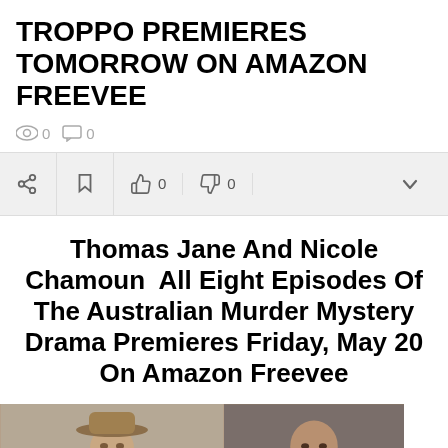TROPPO PREMIERES TOMORROW ON AMAZON FREEVEE
0 views  0 comments
Share | Flag | Thumbs up 0 | Thumbs down 0
Thomas Jane And Nicole Chamoun  All Eight Episodes Of The Australian Murder Mystery Drama Premieres Friday, May 20 On Amazon Freevee
[Figure (photo): Two actors: a man wearing a wide-brim hat on the left, and a woman with a shaved head on the right, against neutral backgrounds]